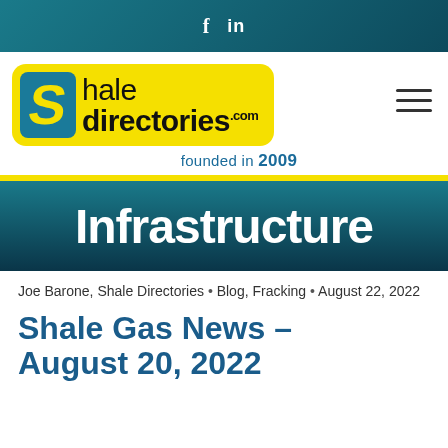f  in
[Figure (logo): Shale Directories .com logo on yellow background with blue S icon, founded in 2009]
Infrastructure
Joe Barone, Shale Directories • Blog, Fracking • August 22, 2022
Shale Gas News – August 20, 2022